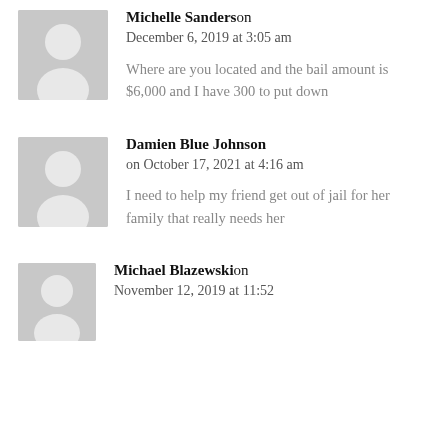Michelle Sanderson
December 6, 2019 at 3:05 am
Where are you located and the bail amount is $6,000 and I have 300 to put down
Damien Blue Johnson
on October 17, 2021 at 4:16 am
I need to help my friend get out of jail for her family that really needs her
Michael Blazewski
on November 12, 2019 at 11:52